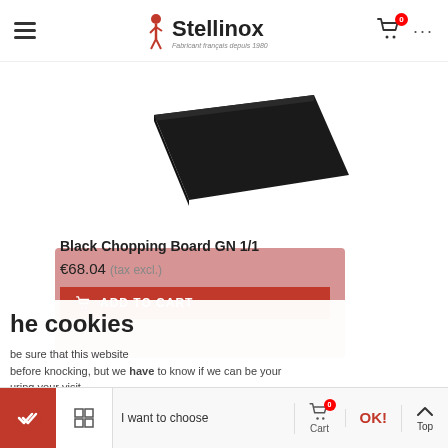Stellinox — Fabricant français depuis 1980
[Figure (photo): Black chopping board / baking sheet viewed at an angle against a white background]
Black Chopping Board GN 1/1
€68.04 (tax excl.)
ADD TO CART
he cookies
be sure that this website
before knocking, but we have to know if we can be your
uring your visit.
Consents certified by axeptio
I want to choose | Cart 0 | OK! | Top